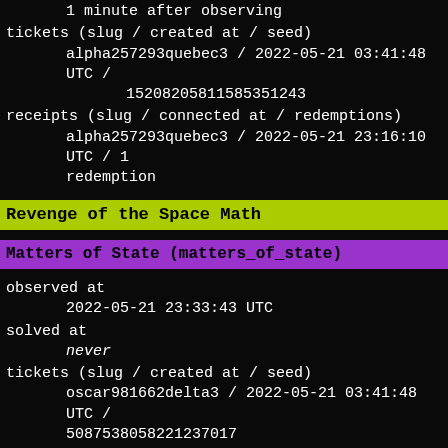1 minute after observing
tickets (slug / created at / seed)
    alpha257293quebec3 / 2022-05-21 03:41:48 UTC / 15208205811585351243
receipts (slug / connected at / redemptions)
    alpha257293quebec3 / 2022-05-21 23:16:10 UTC / 1 redemption
Revenge of the Space Math
Matters of State (matters_of_state)
observed at
    2022-05-21 23:33:43 UTC
solved at
    never
tickets (slug / created at / seed)
    oscar981662delta3 / 2022-05-21 03:41:48 UTC / 5087538058221237017
receipts (slug / connected at / redemptions)
Crosslinks (crosslinks1)
solved at